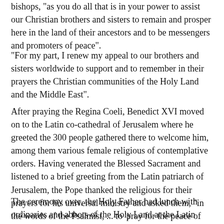bishops, "as you do all that is in your power to assist our Christian brothers and sisters to remain and prosper here in the land of their ancestors and to be messengers and promoters of peace".
"For my part, I renew my appeal to our brothers and sisters worldwide to support and to remember in their prayers the Christian communities of the Holy Land and the Middle East".
After praying the Regina Coeli, Benedict XVI moved on to the Latin co-cathedral of Jerusalem where he greeted the 300 people gathered there to welcome him, among them various female religious of contemplative orders. Having venerated the Blessed Sacrament and listened to a brief greeting from the Latin patriarch of Jerusalem, the Pope thanked the religious for their prayers for his universal ministry and asked them, "in the words of the Psalmist, ... to 'pray for the peace of Jerusalem', to pray without ceasing for an end to the conflict that has brought so much suffering to the peoples of this land".
The ceremony over, the Holy Father had lunch with ordinaries and abbots of the Holy Land at the Latin Patriarchate in Jerusalem.